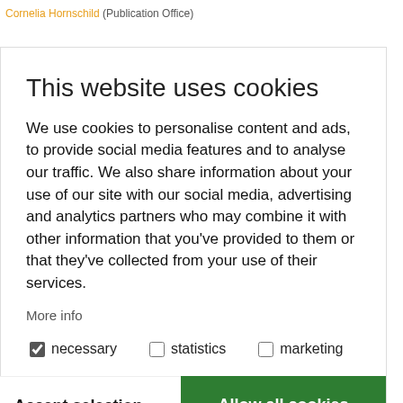Cornelia Hornschild (Publication Office)
This website uses cookies
We use cookies to personalise content and ads, to provide social media features and to analyse our traffic. We also share information about your use of our site with our social media, advertising and analytics partners who may combine it with other information that you've provided to them or that they've collected from your use of their services.
More info
necessary (checked)
statistics (unchecked)
marketing (unchecked)
Accept selection
Allow all cookies